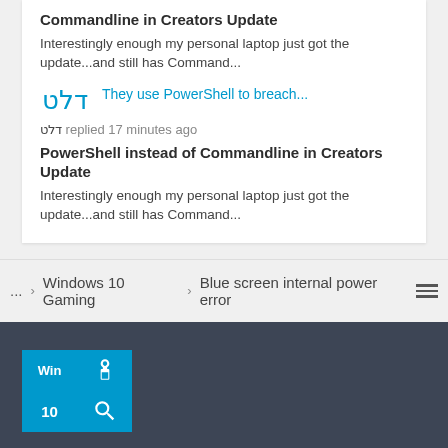Commandline in Creators Update
Interestingly enough my personal laptop just got the update...and still has Command...
They use PowerShell to breach...
דלט replied 17 minutes ago
PowerShell instead of Commandline in Creators Update
Interestingly enough my personal laptop just got the update...and still has Command...
... > Windows 10 Gaming > Blue screen internal power error
[Figure (logo): Windows 10 troubleshooting site logo with gear and magnifying glass icons on blue tiles]